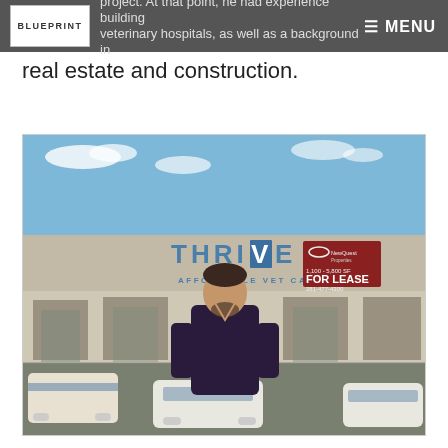BLUEPRINT | ≡ MENU
project. At that point, he had experience building veterinary hospitals, as well as a background in real estate and construction.
[Figure (photo): A man standing in front of a Thrive Affordable Vet Care storefront in a strip mall. The building has a large sign reading 'THRIVE AFFORDABLE VET CARE' with a red 'FOR LEASE' sign to the right. Cars are parked in the lot in front.]